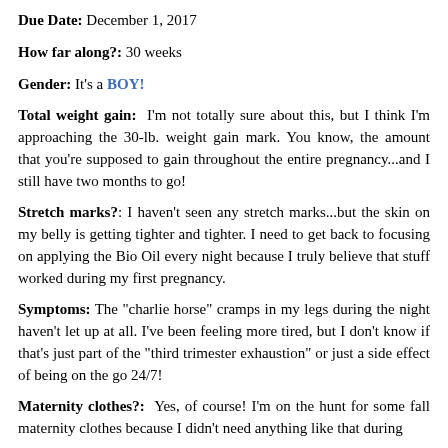Due Date: December 1, 2017
How far along?: 30 weeks
Gender: It's a BOY!
Total weight gain: I'm not totally sure about this, but I think I'm approaching the 30-lb. weight gain mark. You know, the amount that you're supposed to gain throughout the entire pregnancy...and I still have two months to go!
Stretch marks?: I haven't seen any stretch marks...but the skin on my belly is getting tighter and tighter. I need to get back to focusing on applying the Bio Oil every night because I truly believe that stuff worked during my first pregnancy.
Symptoms: The "charlie horse" cramps in my legs during the night haven't let up at all. I've been feeling more tired, but I don't know if that's just part of the "third trimester exhaustion" or just a side effect of being on the go 24/7!
Maternity clothes?: Yes, of course! I'm on the hunt for some fall maternity clothes because I didn't need anything like that during my last pregnancy, and the few fall/winter items I do have from back then don't